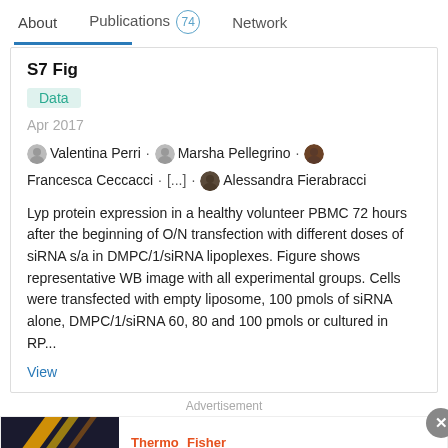About    Publications 74    Network
S7 Fig
Data
Apr 2017
Valentina Perri · Marsha Pellegrino · Francesca Ceccacci · [...] · Alessandra Fierabracci
Lyp protein expression in a healthy volunteer PBMC 72 hours after the beginning of O/N transfection with different doses of siRNA s/a in DMPC/1/siRNA lipoplexes. Figure shows representative WB image with all experimental groups. Cells were transfected with empty liposome, 100 pmols of siRNA alone, DMPC/1/siRNA 60, 80 and 100 pmols or cultured in RP...
View
Advertisement
[Figure (screenshot): ThermoFisher Scientific advertisement banner with dark background image showing diagonal yellow/gold lines and cloning dots graphic, with white background content area showing ThermoFisher Scientific logo and text: Cloning solutions made for advancement]